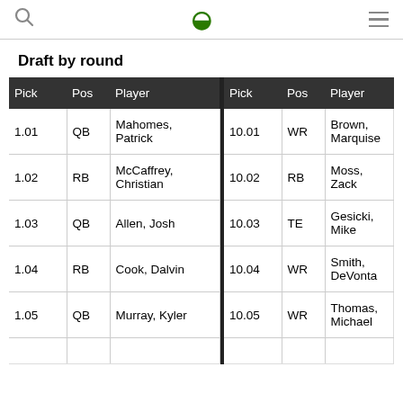Draft by round
Draft by round
| Pick | Pos | Player |  | Pick | Pos | Player |
| --- | --- | --- | --- | --- | --- | --- |
| 1.01 | QB | Mahomes, Patrick |  | 10.01 | WR | Brown, Marquise |
| 1.02 | RB | McCaffrey, Christian |  | 10.02 | RB | Moss, Zack |
| 1.03 | QB | Allen, Josh |  | 10.03 | TE | Gesicki, Mike |
| 1.04 | RB | Cook, Dalvin |  | 10.04 | WR | Smith, DeVonta |
| 1.05 | QB | Murray, Kyler |  | 10.05 | WR | Thomas, Michael |